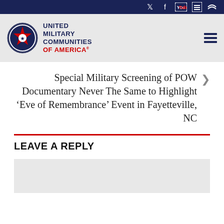United Military Communities of America
Special Military Screening of POW Documentary Never The Same to Highlight ‘Eve of Remembrance’ Event in Fayetteville, NC
LEAVE A REPLY